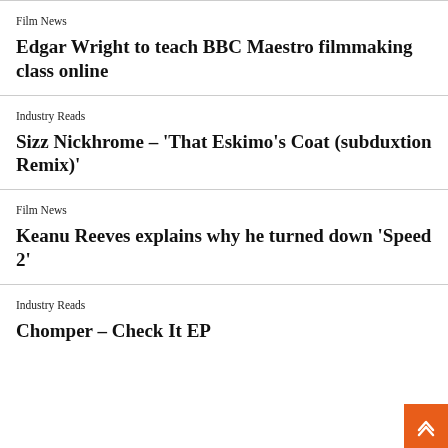Film News
Edgar Wright to teach BBC Maestro filmmaking class online
Industry Reads
Sizz Nickhrome – 'That Eskimo's Coat (subduxtion Remix)'
Film News
Keanu Reeves explains why he turned down 'Speed 2'
Industry Reads
Chomper – Check It EP